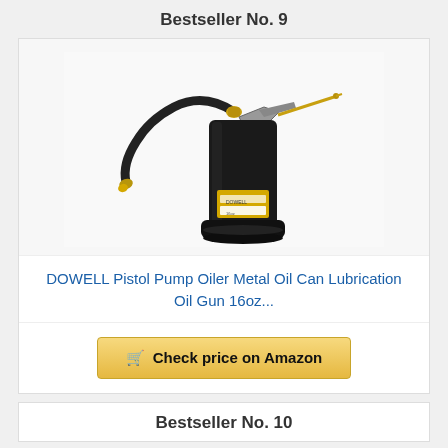Bestseller No. 9
[Figure (photo): DOWELL Pistol Pump Oiler - black metal oil can with flexible spout and rigid needle spout attachment, shown against white background]
DOWELL Pistol Pump Oiler Metal Oil Can Lubrication Oil Gun 16oz...
Check price on Amazon
Bestseller No. 10